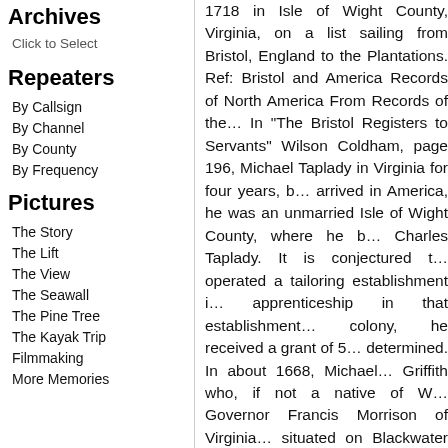Archives
Click to Select
Repeaters
By Callsign
By Channel
By County
By Frequency
Pictures
The Story
The Lift
The View
The Seawall
The Pine Tree
The Kayak Trip
Filmmaking
More Memories
1718 in Isle of Wight County, Virginia, on a list sailing from Bristol, England to the Plantations. Ref: Bristol and America Records of North America From Records of the… In "The Bristol Registers to Servants" Wilson Coldham, page 196, Michael Taplady in Virginia for four years, b… arrived in America, he was an unmarried Isle of Wight County, where he b… Charles Taplady. It is conjectured t… operated a tailoring establishment i… apprenticeship in that establishment… colony, he received a grant of 5… determined. In about 1668, Michael… Griffith who, if not a native of W… Governor Francis Morrison of Virginia… situated on Blackwater River in Is… 1671, Rowland Griffith gave "all of… and now wife unto Michael DesLog…
Michael and/or Jane might have di… children born to them is not known.… married, but due to loss of records… family. Also, there were probably… maturity. However, records of the… circumstantial evidence (which ha…